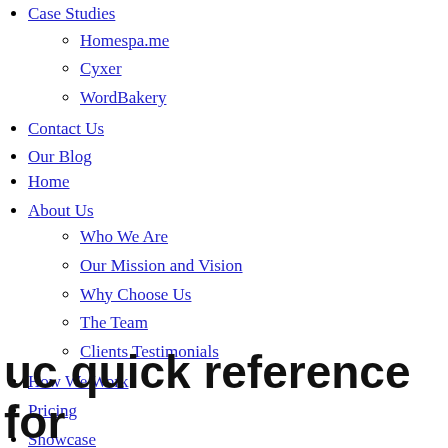Case Studies
Homespa.me
Cyxer
WordBakery
Contact Us
Our Blog
Home
About Us
Who We Are
Our Mission and Vision
Why Choose Us
The Team
Clients Testimonials
How We Work
Pricing
Showcase
Case Studies
Homespa.me
Cyxer
WordBakery
Contact Us
Our Blog
uc quick reference for